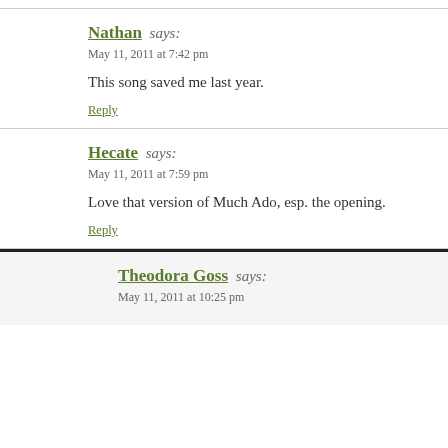Nathan says: May 11, 2011 at 7:42 pm
This song saved me last year.
Reply
Hecate says: May 11, 2011 at 7:59 pm
Love that version of Much Ado, esp. the opening.
Reply
Theodora Goss says: May 11, 2011 at 10:25 pm